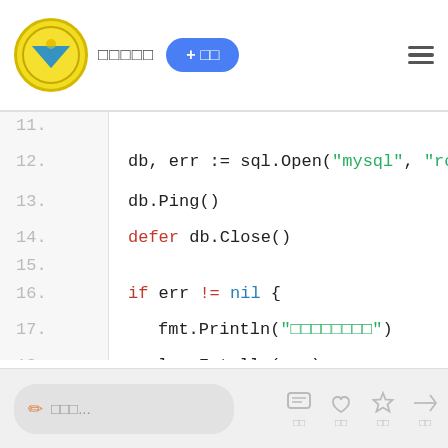Navigation bar with logo, title, + button, and menu icon
[Figure (screenshot): Code editor screenshot showing Go language code lines 11-22 with syntax highlighting. Line 12: db, err := sql.Open("mysql", "roo..."). Line 13: db.Ping(). Line 14: defer db.Close(). Line 16: if err != nil {. Line 17: fmt.Println("연결되었습니다"). Line 18: log.Fatalln(err). Line 19: }. Line 21: var mid int = 1.]
Comment input box and action icons (comment, like, star, share)